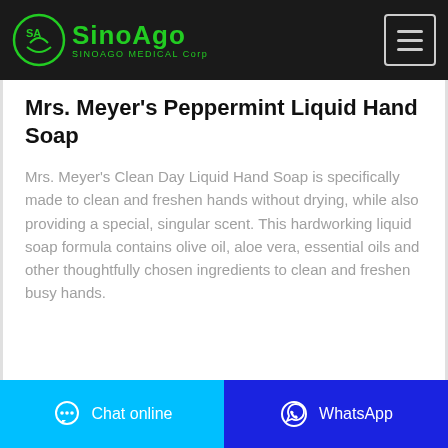SINOAGO MEDICAL Corp
Mrs. Meyer's Peppermint Liquid Hand Soap
Mrs. Meyer's Clean Day Liquid Hand Soap is specifically made to clean and freshen hands without drying, while also providing a special, singular scent. This hardworking liquid soap formula contains olive oil, aloe vera, essential oils and other thoughtfully chosen ingredients to clean and freshen busy hands.
Chat online | WhatsApp